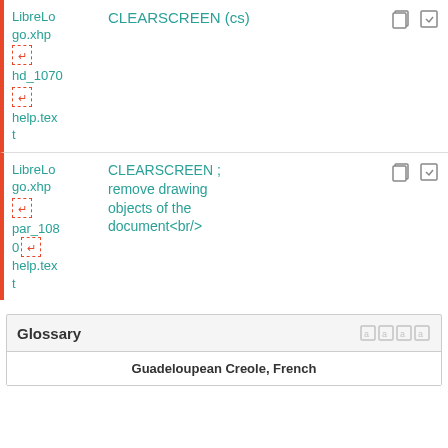LibreLogo.xhp hd_1070 help.text CLEARSCREEN (cs)
LibreLogo.xhp par_1080 help.text CLEARSCREEN ; remove drawing objects of the document<br/>
Glossary
Guadeloupean Creole, French